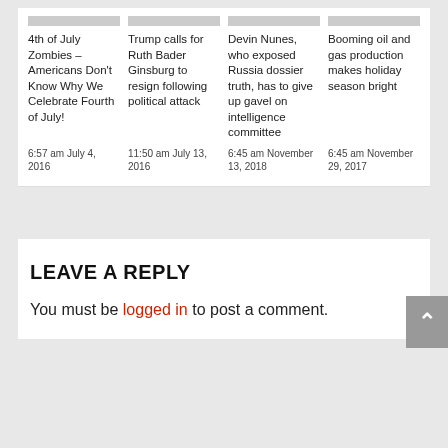4th of July Zombies – Americans Don't Know Why We Celebrate Fourth of July!
6:57 am July 4, 2016
Trump calls for Ruth Bader Ginsburg to resign following political attack
11:50 am July 13, 2016
Devin Nunes, who exposed Russia dossier truth, has to give up gavel on intelligence committee
6:45 am November 13, 2018
Booming oil and gas production makes holiday season bright
6:45 am November 29, 2017
LEAVE A REPLY
You must be logged in to post a comment.